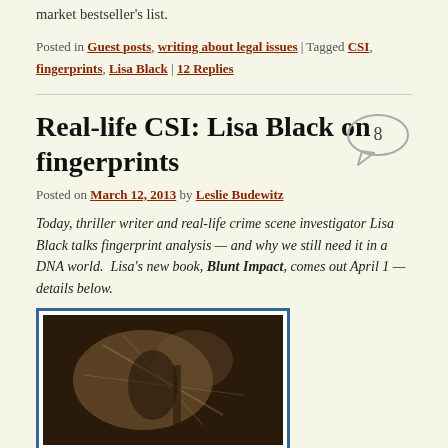market bestseller's list.
Posted in Guest posts, writing about legal issues | Tagged CSI, fingerprints, Lisa Black | 12 Replies
Real-life CSI: Lisa Black on fingerprints
Posted on March 12, 2013 by Leslie Budewitz
Today, thriller writer and real-life crime scene investigator Lisa Black talks fingerprint analysis — and why we still need it in a DNA world.  Lisa's new book, Blunt Impact, comes out April 1 — details below.
[Figure (photo): Close-up sepia/dark toned photograph of fingerprints or hands with tools, crime scene investigation themed image]